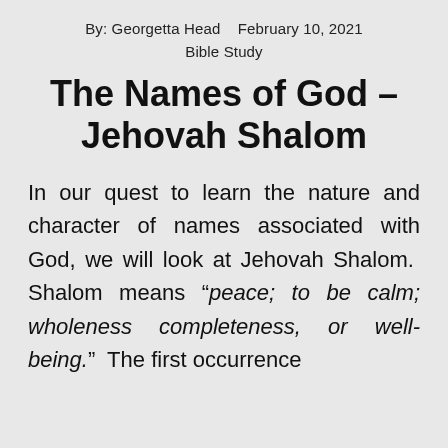By:  Georgetta Head    February 10, 2021
Bible Study
The Names of God – Jehovah Shalom
In our quest to learn the nature and character of names associated with God, we will look at Jehovah Shalom.  Shalom means “peace; to be calm; wholeness completeness, or well-being.”  The first occurrence